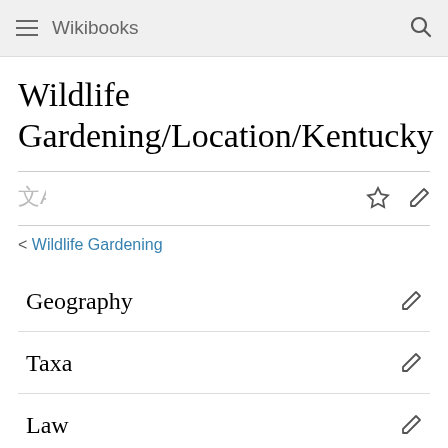Wikibooks
Wildlife Gardening/Location/Kentucky
< Wildlife Gardening
Geography
Taxa
Law